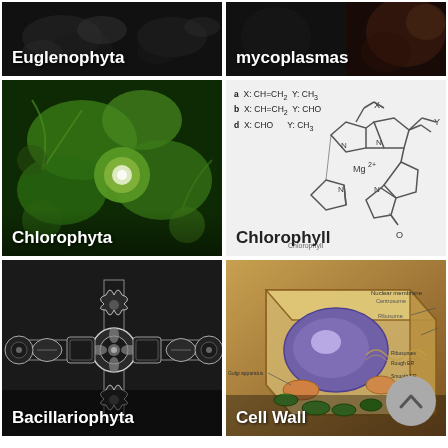[Figure (photo): Euglenophyta tile - dark background with microscopy image, white label text]
[Figure (photo): Mycoplasmas tile - dark background, white label text]
[Figure (photo): Chlorophyta tile - green algae illustration with label]
[Figure (illustration): Chlorophyll chemical structure diagram with formula annotations (a: X:CH=CH2 Y:CH3, b: X:CH=CH2 Y:CHO, d: X:CHO Y:CH3) and Mg2+ center]
[Figure (photo): Bacillariophyta tile - diatom cross shapes on dark background with label]
[Figure (illustration): Cell Wall tile - labeled plant cell diagram with nucleus, cell wall, organelles, and scroll-to-top button overlay]
ABOUT THIS ARTICLE